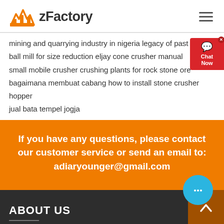zFactory
mining and quarrying industry in nigeria legacy of past mining
ball mill for size reduction eljay cone crusher manual
small mobile crusher crushing plants for rock stone ore
bagaimana membuat cabang how to install stone crusher hopper
jual bata tempel jogja
If you have any questions, please contact our customer service or send an email to: adiaryounger@gmail.com
ABOUT US
More than 40 series, hundreds of specifications of crushers, sand